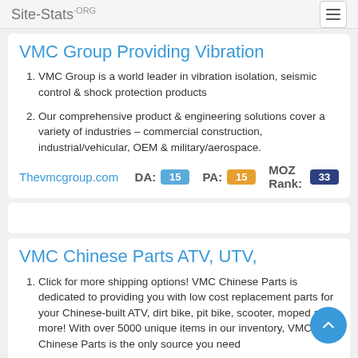Site-Stats.ORG
VMC Group Providing Vibration
VMC Group is a world leader in vibration isolation, seismic control & shock protection products
Our comprehensive product & engineering solutions cover a variety of industries – commercial construction, industrial/vehicular, OEM & military/aerospace.
Thevmcgroup.com   DA: 15   PA: 15   MOZ Rank: 33
VMC Chinese Parts ATV, UTV,
Click for more shipping options! VMC Chinese Parts is dedicated to providing you with low cost replacement parts for your Chinese-built ATV, dirt bike, pit bike, scooter, moped and more! With over 5000 unique items in our inventory, VMC Chinese Parts is the only source you need